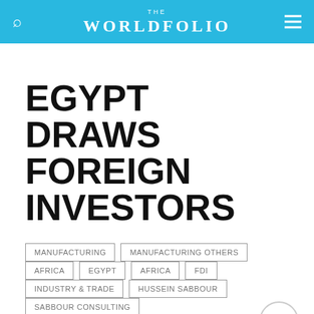THE WORLDFOLIO
EGYPT DRAWS FOREIGN INVESTORS
MANUFACTURING
MANUFACTURING OTHERS
AFRICA
EGYPT
AFRICA
FDI
INDUSTRY & TRADE
HUSSEIN SABBOUR
SABBOUR CONSULTING
Suez Canal Zone to